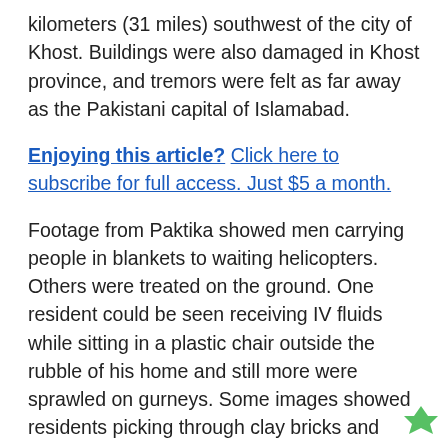kilometers (31 miles) southwest of the city of Khost. Buildings were also damaged in Khost province, and tremors were felt as far away as the Pakistani capital of Islamabad.
Enjoying this article? Click here to subscribe for full access. Just $5 a month.
Footage from Paktika showed men carrying people in blankets to waiting helicopters. Others were treated on the ground. One resident could be seen receiving IV fluids while sitting in a plastic chair outside the rubble of his home and still more were sprawled on gurneys. Some images showed residents picking through clay bricks and other rubble from destroyed stone houses, some of whose roofs or walls had caved in.